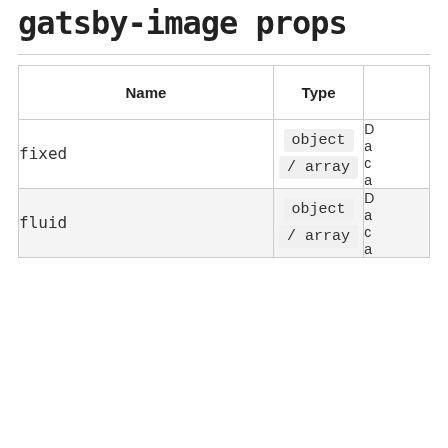gatsby-image props
| Name | Type |  |
| --- | --- | --- |
| fixed | object / array | D… a… c… a… |
| fluid | object / array | D… a… c… a… |